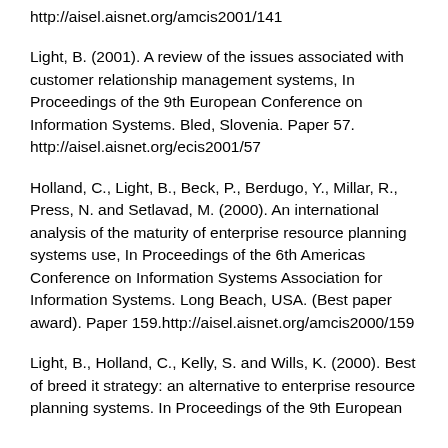http://aisel.aisnet.org/amcis2001/141
Light, B. (2001). A review of the issues associated with customer relationship management systems, In Proceedings of the 9th European Conference on Information Systems. Bled, Slovenia. Paper 57. http://aisel.aisnet.org/ecis2001/57
Holland, C., Light, B., Beck, P., Berdugo, Y., Millar, R., Press, N. and Setlavad, M. (2000). An international analysis of the maturity of enterprise resource planning systems use, In Proceedings of the 6th Americas Conference on Information Systems Association for Information Systems. Long Beach, USA. (Best paper award). Paper 159.http://aisel.aisnet.org/amcis2000/159
Light, B., Holland, C., Kelly, S. and Wills, K. (2000). Best of breed it strategy: an alternative to enterprise resource planning systems. In Proceedings of the 9th European...